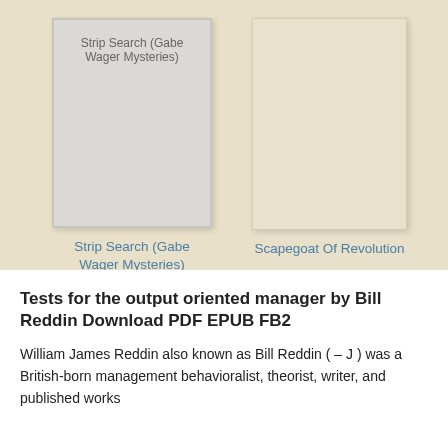[Figure (illustration): Book cover placeholder for Strip Search (Gabe Wager Mysteries) — grey rectangle with title text]
Strip Search (Gabe Wager Mysteries)
[Figure (illustration): Book cover placeholder for Scapegoat Of Revolution — beige/cream rectangle, no title text visible]
Strip Search (Gabe Wager Mysteries)
Scapegoat Of Revolution
Tests for the output oriented manager by Bill Reddin Download PDF EPUB FB2
William James Reddin also known as Bill Reddin ( – J ) was a British-born management behavioralist, theorist, writer, and published works